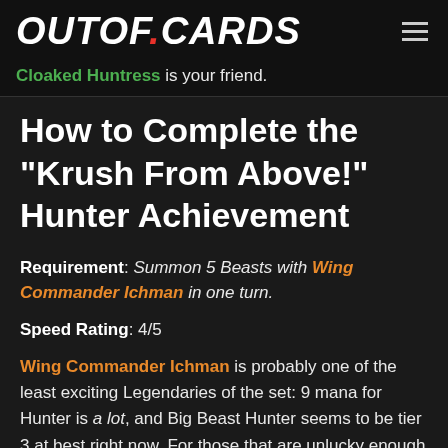OUTOF.CARDS
Cloaked Huntress is your friend.
How to Complete the "Krush From Above!" Hunter Achievement
Requirement: Summon 5 Beasts with Wing Commander Ichman in one turn.
Speed Rating: 4/5
Wing Commander Ichman is probably one of the least exciting Legendaries of the set: 9 mana for Hunter is a lot, and Big Beast Hunter seems to be tier 3 at best right now. For those that are unlucky enough...